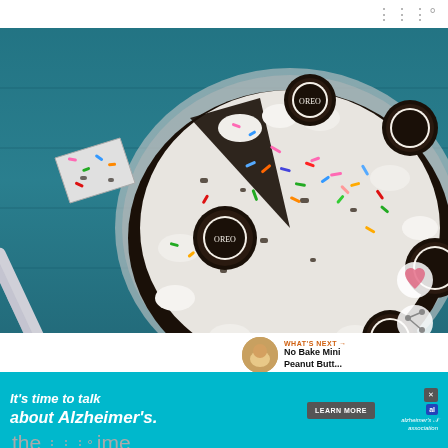[Figure (photo): An Oreo cookies and cream no-bake pie with colorful sprinkles on a teal background. A cake server holds a slice. Multiple Oreo cookies decorate the top of the pie, which sits in a foil tin.]
WHAT'S NEXT → No Bake Mini Peanut Butt...
If you want to make this Cake Batter Oreo No Ba... make it the... time
[Figure (infographic): Advertisement banner: It's time to talk about Alzheimer's. LEARN MORE. alzheimer's association logo.]